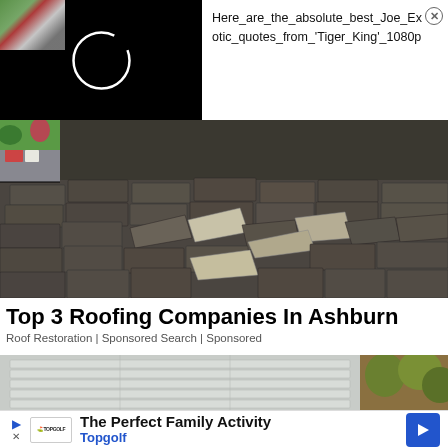[Figure (screenshot): Black video thumbnail with a white circular loading/play indicator]
Here_are_the_absolute_best_Joe_Exotic_quotes_from_'Tiger_King'_1080p
[Figure (photo): Photo of damaged roof shingles that are cracked, curling, and peeling off. Small inset in upper left shows a street scene with trees and cars.]
Top 3 Roofing Companies In Ashburn
Roof Restoration | Sponsored Search | Sponsored
[Figure (photo): Partial bottom strip showing a garage door and foliage]
The Perfect Family Activity
Topgolf